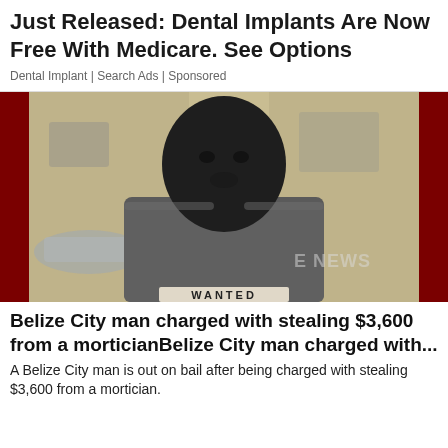Just Released: Dental Implants Are Now Free With Medicare. See Options
Dental Implant | Search Ads | Sponsored
[Figure (photo): A man wearing a grey shirt with 'WANTED' text visible at the bottom, photographed in front of a building. A watermark reading 'E NEWS' appears in the lower right. Red side panels flank the photo.]
Belize City man charged with stealing $3,600 from a morticianBelize City man charged with...
A Belize City man is out on bail after being charged with stealing $3,600 from a mortician.